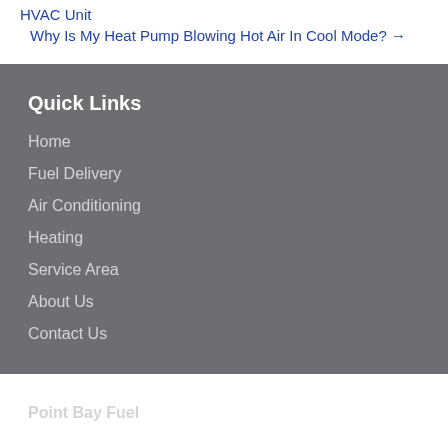HVAC Unit
Why Is My Heat Pump Blowing Hot Air In Cool Mode? →
Quick Links
Home
Fuel Delivery
Air Conditioning
Heating
Service Area
About Us
Contact Us
Location
Point Bay Fuel